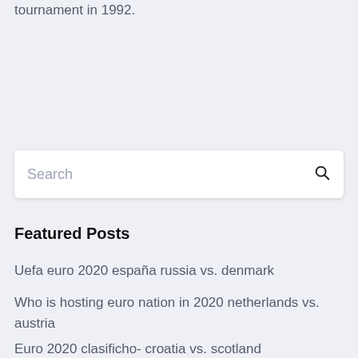tournament in 1992.
[Figure (screenshot): Search input box with placeholder text 'Search' and a magnifying glass icon on the right]
Featured Posts
Uefa euro 2020 españa russia vs. denmark
Who is hosting euro nation in 2020 netherlands vs. austria
Euro 2020 clasificho- croatia vs. scotland